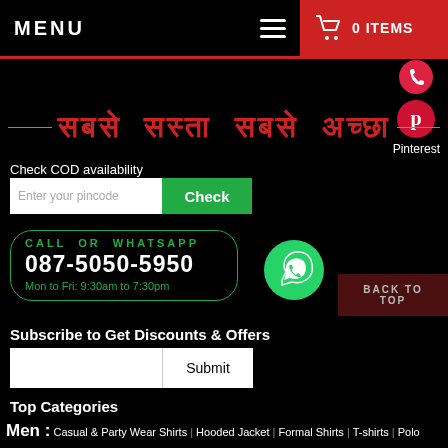MENU  ☰  🛒 0 ITEMS
[Figure (logo): Pinterest icon with label]
सबसे सस्ता सबसे अच्छा
Check COD availability
Enter your pincode  Check
CALL OR WHATSAPP 087-5050-5950 Mon to Fri: 9:30am to 7:30pm
BACK TO TOP
Subscribe to Get Discounts & Offers
Submit
Top Categories
Men : Casual & Party Wear Shirts | Hooded Jacket | Formal Shirts | T-shirts | Polo T-Shirts | Leather Jackets | Casual Shoes | Sports Shoes | Formal Shoes | Sandals & Floaters | Flip- Flops & Slippers | Boots | Sneakers | Running Shoes | Loafers